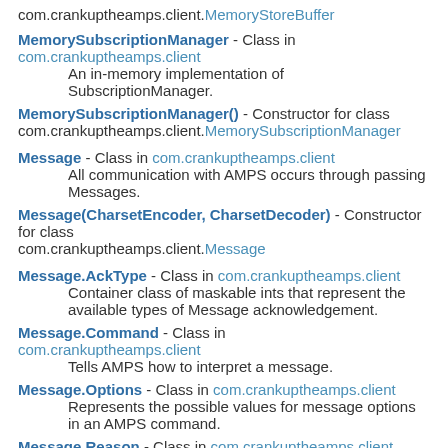com.crankuptheamps.client.MemoryStoreBuffer
MemorySubscriptionManager - Class in com.crankuptheamps.client
  An in-memory implementation of SubscriptionManager.
MemorySubscriptionManager() - Constructor for class com.crankuptheamps.client.MemorySubscriptionManager
Message - Class in com.crankuptheamps.client
  All communication with AMPS occurs through passing Messages.
Message(CharsetEncoder, CharsetDecoder) - Constructor for class com.crankuptheamps.client.Message
Message.AckType - Class in com.crankuptheamps.client
  Container class of maskable ints that represent the available types of Message acknowledgement.
Message.Command - Class in com.crankuptheamps.client
  Tells AMPS how to interpret a message.
Message.Options - Class in com.crankuptheamps.client
  Represents the possible values for message options in an AMPS command.
Message.Reason - Class in com.crankuptheamps.client